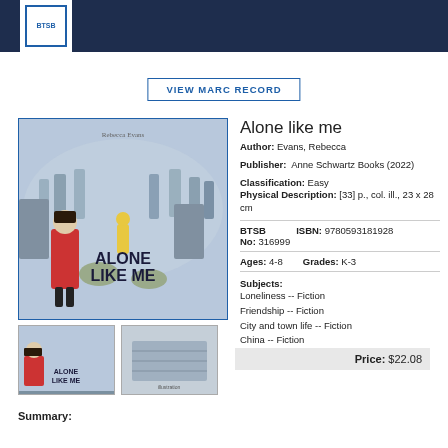BTSB logo header
VIEW MARC RECORD
Alone like me
Author: Evans, Rebecca
Publisher: Anne Schwartz Books (2022)
Classification: Easy
Physical Description: [33] p., col. ill., 23 x 28 cm
BTSB No: 316999   ISBN: 9780593181928
Ages: 4-8   Grades: K-3
Subjects:
Loneliness -- Fiction
Friendship -- Fiction
City and town life -- Fiction
China -- Fiction
[Figure (illustration): Book cover of 'Alone Like Me' by Rebecca Evans, showing illustrated children in a busy market scene]
[Figure (illustration): Thumbnail of book cover showing 'Alone Like Me' text]
[Figure (illustration): Thumbnail of interior illustration]
Price: $22.08
Summary: